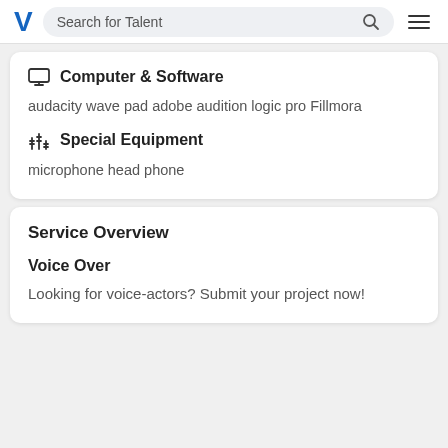V  Search for Talent
Computer & Software
audacity wave pad adobe audition logic pro Fillmora
Special Equipment
microphone head phone
Service Overview
Voice Over
Looking for voice-actors? Submit your project now!